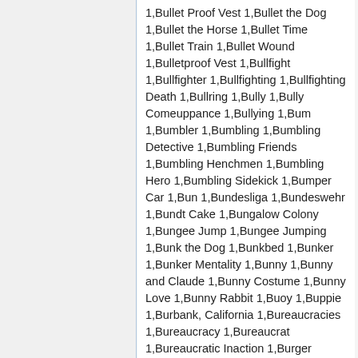1,Bullet Proof Vest 1,Bullet the Dog 1,Bullet the Horse 1,Bullet Time 1,Bullet Train 1,Bullet Wound 1,Bulletproof Vest 1,Bullfight 1,Bullfighter 1,Bullfighting 1,Bullfighting Death 1,Bullring 1,Bully 1,Bully Comeuppance 1,Bullying 1,Bum 1,Bumbler 1,Bumbling 1,Bumbling Detective 1,Bumbling Friends 1,Bumbling Henchmen 1,Bumbling Hero 1,Bumbling Sidekick 1,Bumper Car 1,Bun 1,Bundesliga 1,Bundeswehr 1,Bundt Cake 1,Bungalow Colony 1,Bungee Jump 1,Bungee Jumping 1,Bunk the Dog 1,Bunkbed 1,Bunker 1,Bunker Mentality 1,Bunny 1,Bunny and Claude 1,Bunny Costume 1,Bunny Love 1,Bunny Rabbit 1,Buoy 1,Buppie 1,Burbank, California 1,Bureaucracies 1,Bureaucracy 1,Bureaucrat 1,Bureaucratic Inaction 1,Burger